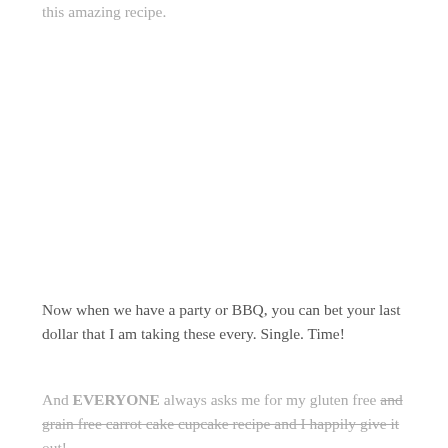this amazing recipe.
Now when we have a party or BBQ, you can bet your last dollar that I am taking these every. Single. Time!
And EVERYONE always asks me for my gluten free and grain free carrot cake cupcake recipe and I happily give it out!